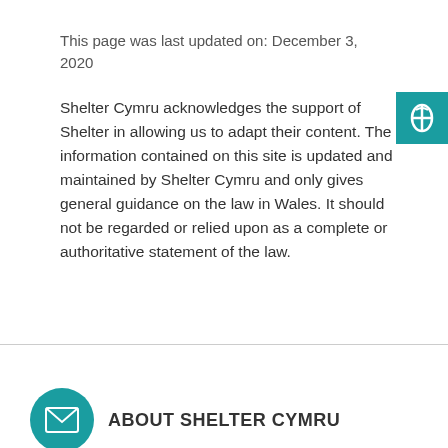This page was last updated on: December 3, 2020
Shelter Cymru acknowledges the support of Shelter in allowing us to adapt their content. The information contained on this site is updated and maintained by Shelter Cymru and only gives general guidance on the law in Wales. It should not be regarded or relied upon as a complete or authoritative statement of the law.
[Figure (logo): Shelter Cymru logo - teal square with white acorn/leaf icon]
[Figure (logo): Teal circular icon with white envelope/email symbol]
ABOUT SHELTER CYMRU